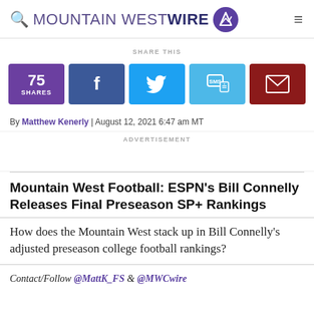MOUNTAIN WEST WIRE
SHARE THIS
[Figure (infographic): Social share buttons: 75 SHARES (purple), Facebook (dark blue), Twitter (light blue), SMS (cyan), Email (dark red)]
By Matthew Kenerly | August 12, 2021 6:47 am MT
ADVERTISEMENT
Mountain West Football: ESPN's Bill Connelly Releases Final Preseason SP+ Rankings
How does the Mountain West stack up in Bill Connelly's adjusted preseason college football rankings?
Contact/Follow @MattK_FS & @MWCwire